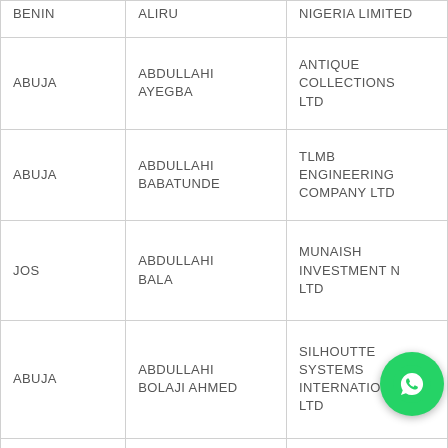| City | Name | Company |
| --- | --- | --- |
| BENIN | ALIRU | NIGERIA LIMITED |
| ABUJA | ABDULLAHI AYEGBA | ANTIQUE COLLECTIONS LTD |
| ABUJA | ABDULLAHI BABATUNDE | TLMB ENGINEERING COMPANY LTD |
| JOS | ABDULLAHI BALA | MUNAISH INVESTMENT N LTD |
| ABUJA | ABDULLAHI BOLAJI AHMED | SILHOUTTE SYSTEMS INTERNATIONAL LTD |
|  |  | TRAVOLTA |